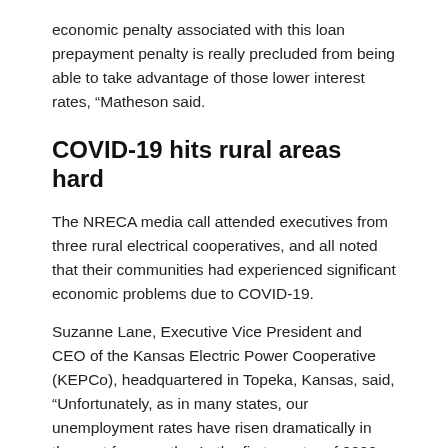economic penalty associated with this loan prepayment penalty is really precluded from being able to take advantage of those lower interest rates, “Matheson said.
COVID-19 hits rural areas hard
The NRECA media call attended executives from three rural electrical cooperatives, and all noted that their communities had experienced significant economic problems due to COVID-19.
Suzanne Lane, Executive Vice President and CEO of the Kansas Electric Power Cooperative (KEPCo), headquartered in Topeka, Kansas, said, “Unfortunately, as in many states, our unemployment rates have risen dramatically in the past few months. In the first quarter of 2020, Kansas unemployment was about 3% or slightly below the national average. We rose to just under 12% in April and recovered somewhat to around 7.5% in June.”